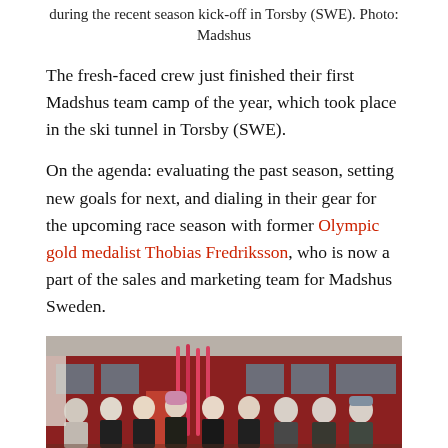during the recent season kick-off in Torsby (SWE). Photo: Madshus
The fresh-faced crew just finished their first Madshus team camp of the year, which took place in the ski tunnel in Torsby (SWE).
On the agenda: evaluating the past season, setting new goals for next, and dialing in their gear for the upcoming race season with former Olympic gold medalist Thobias Fredriksson, who is now a part of the sales and marketing team for Madshus Sweden.
[Figure (photo): Group photo of Madshus team members standing outside a red building, holding ski equipment, taken during the season kick-off in Torsby, Sweden.]